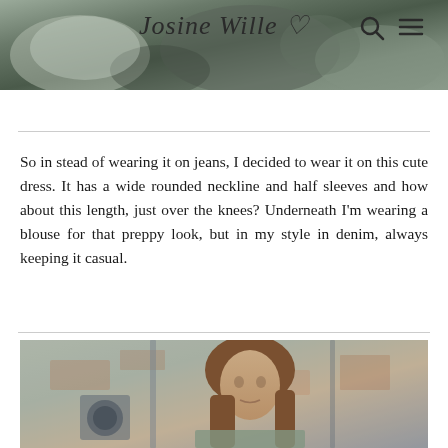Josine Wille ♡
[Figure (photo): Top portion of outdoor photo showing rocky/gravelly ground in gray tones]
So in stead of wearing it on jeans, I decided to wear it on this cute dress. It has a wide rounded neckline and half sleeves and how about this length, just over the knees? Underneath I'm wearing a blouse for that preppy look, but in my style in denim, always keeping it casual.
[Figure (photo): Photo of a woman with long brown hair standing in front of a weathered brick wall with peeling paint, wearing a dress]